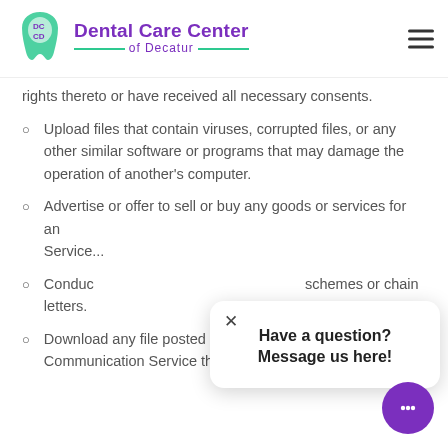Dental Care Center of Decatur
rights thereto or have received all necessary consents.
Upload files that contain viruses, corrupted files, or any other similar software or programs that may damage the operation of another's computer.
Advertise or offer to sell or buy any goods or services for any business purpose, unless such Communication Service...
Conduct... schemes or chain letters.
Download any file posted by another user of a Communication Service that you know, or reasonably
Have a question? Message us here!